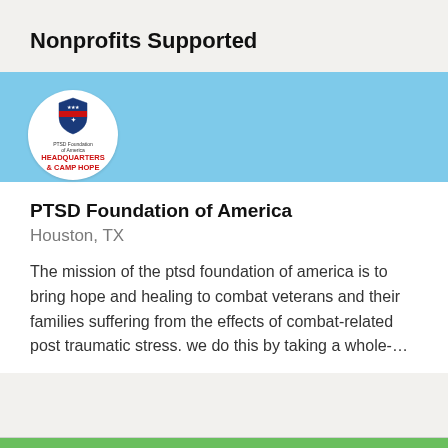Nonprofits Supported
[Figure (logo): PTSD Foundation of America logo — circular white badge with shield graphic and red text reading HEADQUARTERS & CAMP HOPE]
PTSD Foundation of America
Houston, TX
The mission of the ptsd foundation of america is to bring hope and healing to combat veterans and their families suffering from the effects of combat-related post traumatic stress. we do this by taking a whole-…